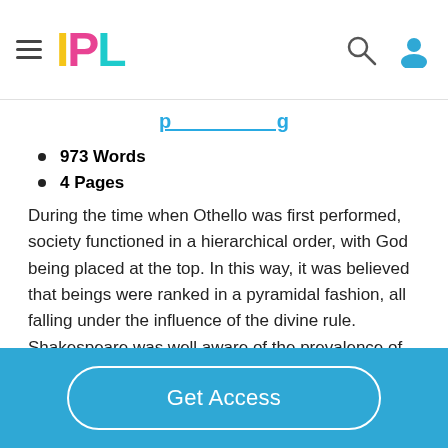IPL
[partial title visible in teal/blue, cropped at top]
973 Words
4 Pages
During the time when Othello was first performed, society functioned in a hierarchical order, with God being placed at the top. In this way, it was believed that beings were ranked in a pyramidal fashion, all falling under the influence of the divine rule. Shakespeare was well aware of the prevalence of the societal mindset and took advantage of his audience 's beliefs by incorporating religious references, especially the usage of the word “heavenher”, in order to not only make his works relatable to his audience but to enforce the
Get Access